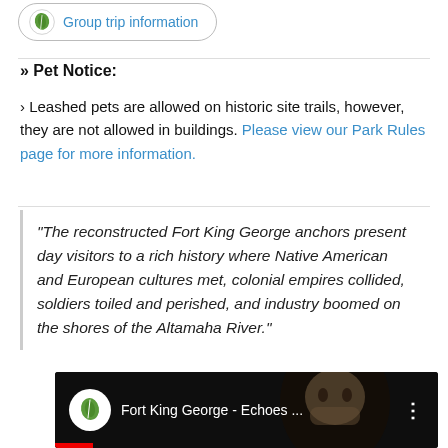[Figure (other): Trip information button with green leaf logo icon, rounded border]
» Pet Notice:
› Leashed pets are allowed on historic site trails, however, they are not allowed in buildings. Please view our Park Rules page for more information.
"The reconstructed Fort King George anchors present day visitors to a rich history where Native American and European cultures met, colonial empires collided, soldiers toiled and perished, and industry boomed on the shores of the Altamaha River."
[Figure (screenshot): YouTube video thumbnail for Fort King George - Echoes ... with leaf logo circle icon, person's face in background, and three-dot menu icon]